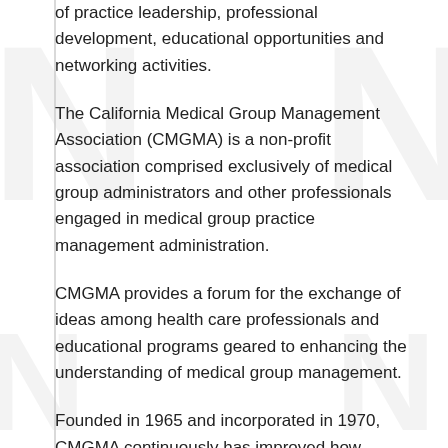of practice leadership, professional development, educational opportunities and networking activities.
The California Medical Group Management Association (CMGMA) is a non-profit association comprised exclusively of medical group administrators and other professionals engaged in medical group practice management administration.
CMGMA provides a forum for the exchange of ideas among health care professionals and educational programs geared to enhancing the understanding of medical group management.
Founded in 1965 and incorporated in 1970, CMGMA continuously has improved how...